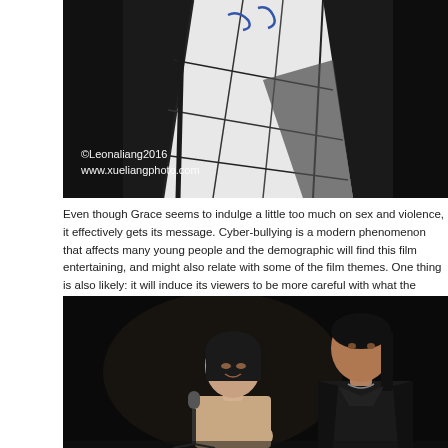[Figure (photo): Photo of a person on stage wearing a white dress/skirt with dark geometric patterns, holding a microphone. Watermark reads: ©Leonaliang2016 www.xueliangphoto.com]
Even though Grace seems to indulge a little too much on sex and violence, it effectively gets its message. Cyber-bullying is a modern phenomenon that affects many young people, and that demographic will find this film entertaining, and might also relate with some of the film themes. One thing is also likely: it will induce its viewers to be more careful with what the
[Figure (photo): Photo of two people on a dark stage — a woman smiling at a microphone and a man in a dark jacket looking towards her.]